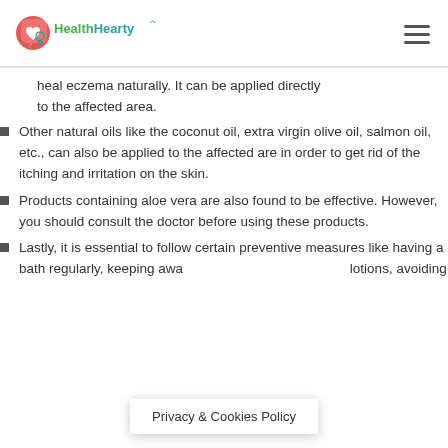HealthHearty
heal eczema naturally. It can be applied directly to the affected area.
Other natural oils like the coconut oil, extra virgin olive oil, salmon oil, etc., can also be applied to the affected are in order to get rid of the itching and irritation on the skin.
Products containing aloe vera are also found to be effective. However, you should consult the doctor before using these products.
Lastly, it is essential to follow certain preventive measures like having a bath regularly, keeping away from lotions, avoiding
Privacy & Cookies Policy